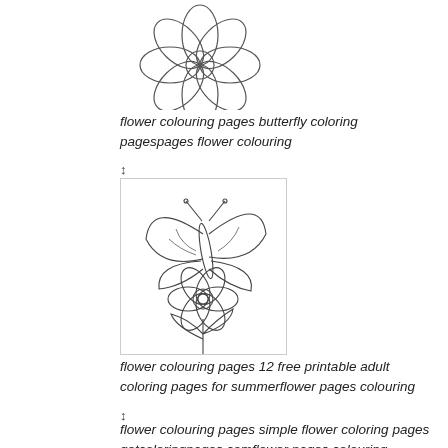[Figure (illustration): Line drawing of a simple flower with multiple petals, viewed from above, no fill — a coloring page style illustration]
flower colouring pages butterfly coloring pagespages flower colouring
↕
[Figure (illustration): Line drawing of a butterfly resting on a flower with stem and leaves, coloring page style, rendered in black outlines on white background]
flower colouring pages 12 free printable adult coloring pages for summerflower pages colouring
↕
flower colouring pages simple flower coloring pages getcoloringpages.comflower pages colouring